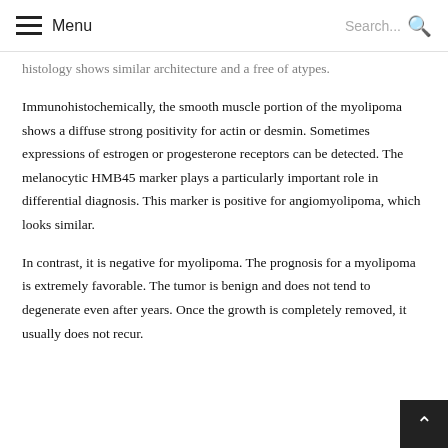Menu  Search...
histology shows similar architecture and a free of atypes.
Immunohistochemically, the smooth muscle portion of the myolipoma shows a diffuse strong positivity for actin or desmin. Sometimes expressions of estrogen or progesterone receptors can be detected. The melanocytic HMB45 marker plays a particularly important role in differential diagnosis. This marker is positive for angiomyolipoma, which looks similar.
In contrast, it is negative for myolipoma. The prognosis for a myolipoma is extremely favorable. The tumor is benign and does not tend to degenerate even after years. Once the growth is completely removed, it usually does not recur.